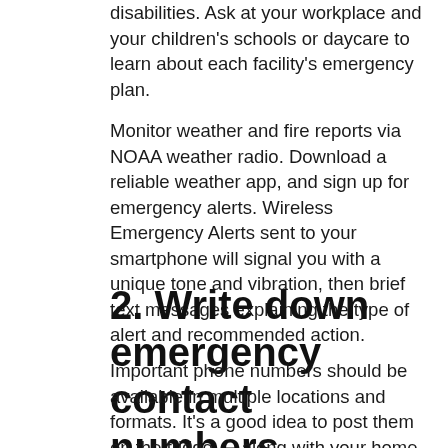disabilities. Ask at your workplace and your children's schools or daycare to learn about each facility's emergency plan.
Monitor weather and fire reports via NOAA weather radio. Download a reliable weather app, and sign up for emergency alerts. Wireless Emergency Alerts sent to your smartphone will signal you with a unique tone and vibration, then brief text messages explaining the type of alert and recommended action.
2. Write down emergency contact numbers
Important phone numbers should be available in multiple locations and formats. It's a good idea to post them on the fridge — along with your home number and address for reference — as well as near any landline telephones. Also, program these